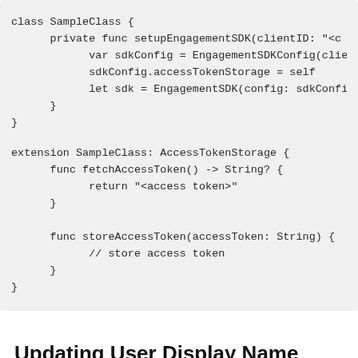[Figure (other): Code block showing Swift class SampleClass with setupEngagementSDK method, and extension SampleClass conforming to AccessTokenStorage with fetchAccessToken and storeAccessToken methods.]
Updating User Display Name
To update user's display name, create an instance of